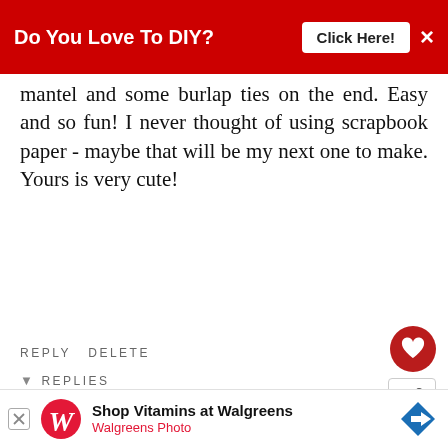[Figure (screenshot): Red banner advertisement: 'Do You Love To DIY?' with 'Click Here!' button and X close button]
mantel and some burlap ties on the end. Easy and so fun! I never thought of using scrapbook paper - maybe that will be my next one to make. Yours is very cute!
REPLY   DELETE
▾ REPLIES
[Figure (screenshot): Heart/like button (red circle with white heart icon) and share button]
[Figure (screenshot): Comment by Kim with avatar, dated OCTOBER 29, 2017 AT 4:07 PM. Text: Now that lovely...and from the Dollar [Store? Then they say... I'm my]]
Kim
OCTOBER 29, 2017 AT 4:07 PM
Now that          lovely...and from the Dollar Store? Then they say... I'm    my
[Figure (screenshot): What's Next panel showing Fall Book Page Leaf...]
[Figure (screenshot): Bottom advertisement: Shop Vitamins at Walgreens / Walgreens Photo with Walgreens logo and navigation arrow icon]